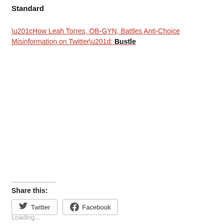Standard
“How Leah Torres, OB-GYN, Battles Anti-Choice Misinformation on Twitter”: Bustle
Share this:
Twitter
Facebook
Loading...